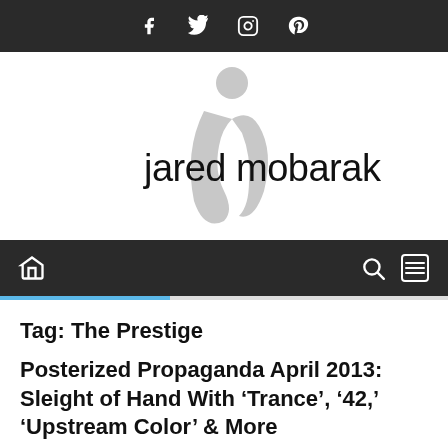Social icons: Facebook, Twitter, Instagram, Pinterest
[Figure (logo): Jared Mobarak logo — stylized 'jm' monogram in gray above the text 'jared mobarak' in black]
Navigation bar with home icon, search icon, and menu icon
Tag: The Prestige
Posterized Propaganda April 2013: Sleight of Hand With ‘Trance’, ‘42,’ ‘Upstream Color’ & More
2013/04/01  Jared Mobarak